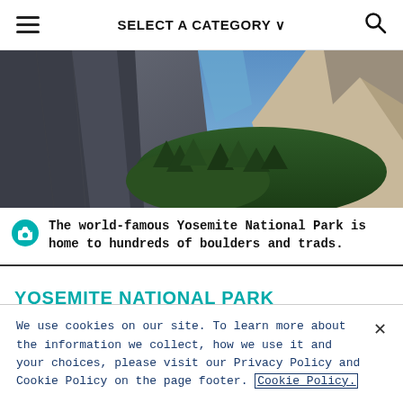SELECT A CATEGORY
[Figure (photo): Aerial/wide view of Yosemite National Park showing granite cliffs and dense forest in the valley below]
The world-famous Yosemite National Park is home to hundreds of boulders and trads.
YOSEMITE NATIONAL PARK
As one of the best-known climbing spots in all of
We use cookies on our site. To learn more about the information we collect, how we use it and your choices, please visit our Privacy Policy and Cookie Policy on the page footer. Cookie Policy.